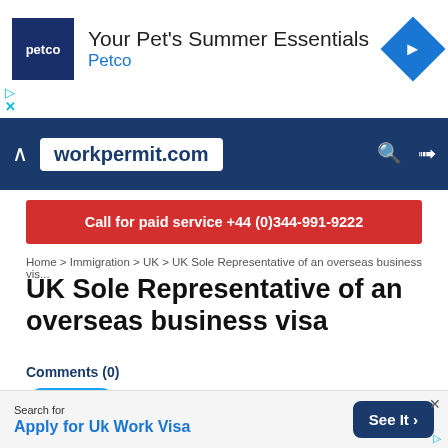[Figure (screenshot): Petco advertisement banner showing Petco logo, text 'Your Pet's Summer Essentials Petco', and blue diamond navigation icon]
[Figure (screenshot): workpermit.com website header bar with logo in white box on dark blue background, with search and login icons]
Call for paid service +44 (0)344-991-9222
Home > Immigration > UK > UK Sole Representative of an overseas business vis...
UK Sole Representative of an overseas business visa
Comments (0)
Tweet
[Figure (screenshot): Bottom advertisement: Search for 'Apply for Uk Work Visa' with 'See It >' button]